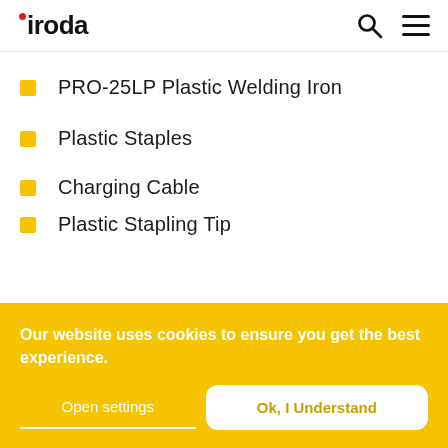iroda
PRO-25LP Plastic Welding Iron
Plastic Staples
Charging Cable
Plastic Stapling Tip
Our website uses cookies to ensure you get the best experience.
Open settings
Ok, I Understand